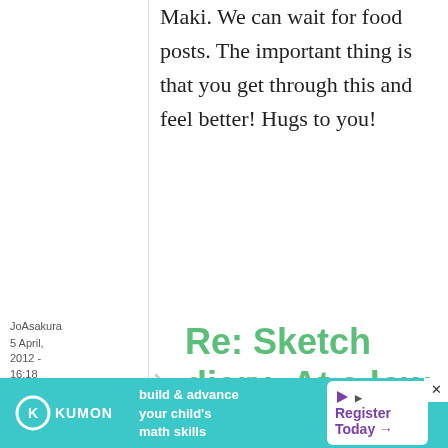Maki. We can wait for food posts. The important thing is that you get through this and feel better! Hugs to you!
JoAsakura
5 April, 2012 - 16:18
permalink
Re: Sketch diary: At a low point
[Figure (other): Advertisement banner for Kumon: 'build & advance your child's math skills' with Register Today button]